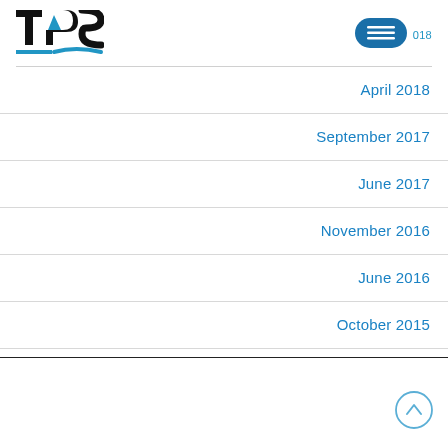[Figure (logo): TPS logo with blue letter A and blue arc/swoosh under 'TPS' text]
[Figure (other): Dark blue rounded rectangle hamburger menu icon with three horizontal white lines]
April 2018
September 2017
June 2017
November 2016
June 2016
October 2015
[Figure (other): Back to top circular button with upward chevron arrow, light blue outline]